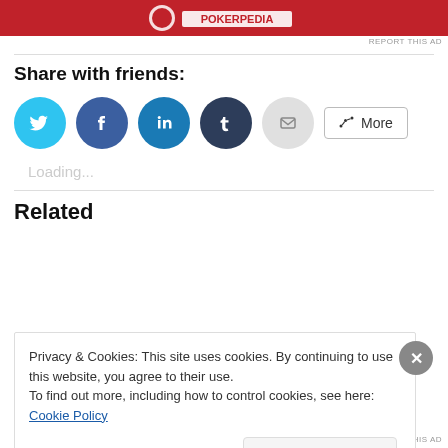[Figure (other): Red advertisement banner at top of page]
REPORT THIS AD
Share with friends:
[Figure (other): Social share buttons: Twitter, Facebook, LinkedIn, Tumblr, Email, and More button]
Loading...
Related
Privacy & Cookies: This site uses cookies. By continuing to use this website, you agree to their use.
To find out more, including how to control cookies, see here: Cookie Policy
Close and accept